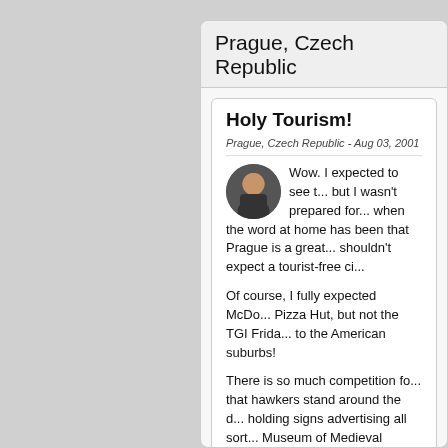Prague, Czech Republic
Holy Tourism!
Prague, Czech Republic - Aug 03, 2001
Wow. I expected to see t... but I wasn't prepared for... when the word at home has been that Prague is a great... shouldn't expect a tourist-free ci...
Of course, I fully expected McDo... Pizza Hut, but not the TGI Frida... to the American suburbs!
There is so much competition fo... that hawkers stand around the d... holding signs advertising all sort... Museum of Medieval Torture Ins... Spiders and Scorpions Museum... bagel/internet joint, and perform...